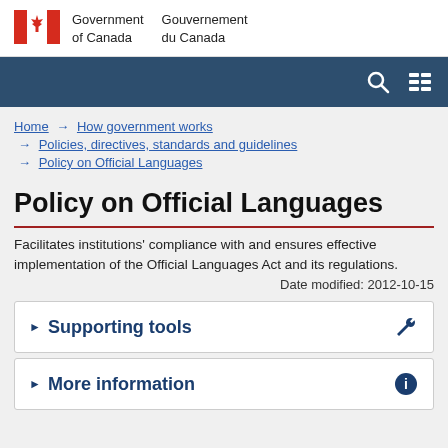Government of Canada / Gouvernement du Canada
[Figure (logo): Canada flag and Government of Canada bilingual wordmark]
Home → How government works → Policies, directives, standards and guidelines → Policy on Official Languages
Policy on Official Languages
Facilitates institutions' compliance with and ensures effective implementation of the Official Languages Act and its regulations.
Date modified: 2012-10-15
Supporting tools
More information